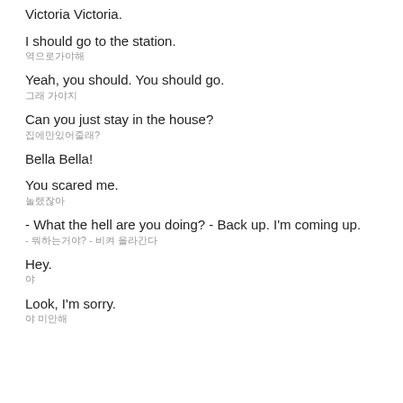Victoria Victoria.
I should go to the station.
역으로가야해
Yeah, you should. You should go.
그래 가야지
Can you just stay in the house?
집에만있어줄래?
Bella Bella!
You scared me.
놀랬잖아
- What the hell are you doing? - Back up. I'm coming up.
- 뭐하는거야? - 비켜 올라간다
Hey.
야
Look, I'm sorry.
야 미안해